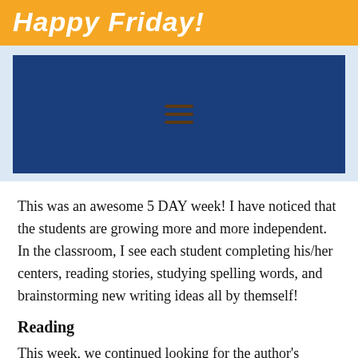Happy Friday!
[Figure (other): Dark blue rectangular box with three horizontal hamburger-menu lines centered inside it, on a light blue background]
This was an awesome 5 DAY week! I have noticed that the students are growing more and more independent. In the classroom, I see each student completing his/her centers, reading stories, studying spelling words, and brainstorming new writing ideas all by themself!
Reading
This week, we continued looking for the author's purpose for writing (to entertain, inform, show how-